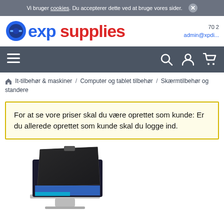Vi bruger cookies. Du accepterer dette ved at bruge vores sider. ✕
[Figure (logo): XP Supplies logo with blue circle icon, blue 'exp' and red 'supplies' text]
70 2  admin@xpdi...
Navigation bar with hamburger menu, search, user, and cart icons
It-tilbehør & maskiner / Computer og tablet tilbehør / Skærmtilbehør og standere
For at se vore priser skal du være oprettet som kunde: Er du allerede oprettet som kunde skal du logge ind.
[Figure (photo): Product photo of a privacy screen filter/monitor shield on a display]